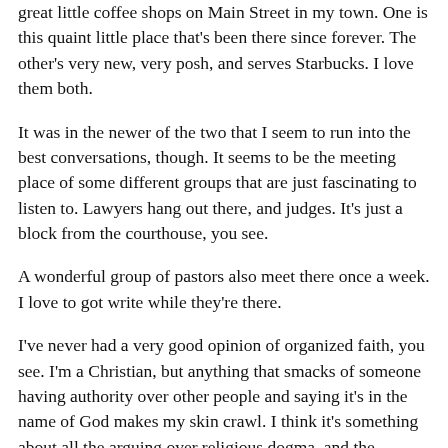great little coffee shops on Main Street in my town.  One is this quaint little place that's been there since forever.  The other's very new, very posh, and serves Starbucks.  I love them both.
It was in the newer of the two that I seem to run into the best conversations, though.  It seems to be the meeting place of some different groups that are just fascinating to listen to.  Lawyers hang out there, and judges.  It's just a block from the courthouse, you see.
A wonderful group of pastors also meet there once a week.  I love to got write while they're there.
I've never had a very good opinion of organized faith, you see.  I'm a Christian, but anything that smacks of someone having authority over other people and saying it's in the name of God makes my skin crawl.  I think it's something about all the arguing over religious dogma, and the constant infighting that always seem to go with it.